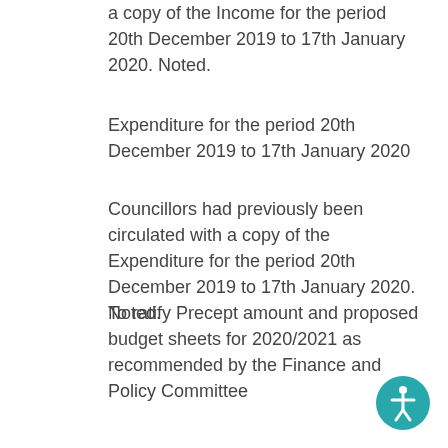a copy of the Income for the period 20th December 2019 to 17th January 2020. Noted.
Expenditure for the period 20th December 2019 to 17th January 2020
Councillors had previously been circulated with a copy of the Expenditure for the period 20th December 2019 to 17th January 2020. Noted.
To ratify Precept amount and proposed budget sheets for 2020/2021 as recommended by the Finance and Policy Committee
Councillors had previously been circulated with a copy of the Precept amount and proposed budget sheets for 2020/2021 as recommended by the Finance and Policy Committee.